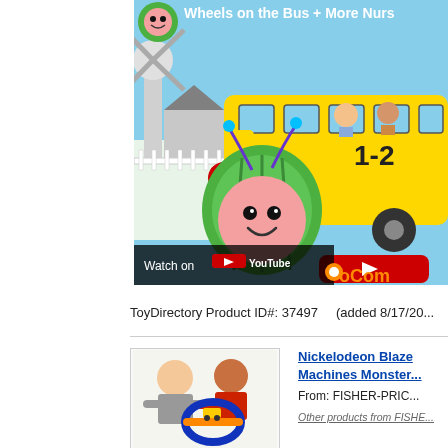[Figure (screenshot): YouTube video thumbnail for CoComelon 'Wheels on the Bus + More Nursery Rhymes' showing animated characters including a watermelon character and children on a yellow school bus, with a YouTube play button overlay and 'Watch on YouTube' bar at bottom, and CoComelon logo visible.]
ToyDirectory Product ID#: 37497     (added 8/17/20...
[Figure (photo): Product photo showing two young boys playing with a toy vehicle track set (Nickelodeon Blaze and the Monster Machines).]
Nickelodeon Blaze and the Monster Machines Monster...
From: FISHER-PRICE...
Other products from FISHE...